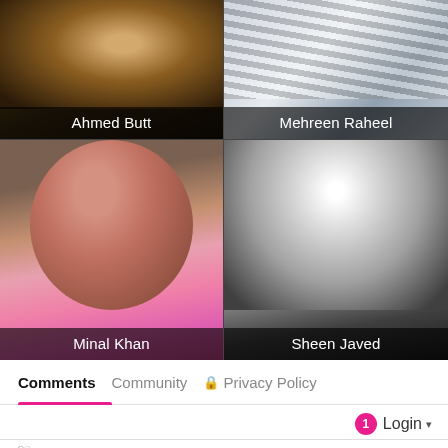[Figure (photo): Grid of four celebrity photos: Ahmed Butt (top-left), Mehreen Raheel (top-right), Minal Khan (bottom-left), Sheen Javed (bottom-right), each with name overlay bar]
Comments   Community   🔒 Privacy Policy
1  Login ▾
♡ Favorite    Sort by Newest ▾
Start the discussion...
LOG IN WITH
Follow us on Instagram